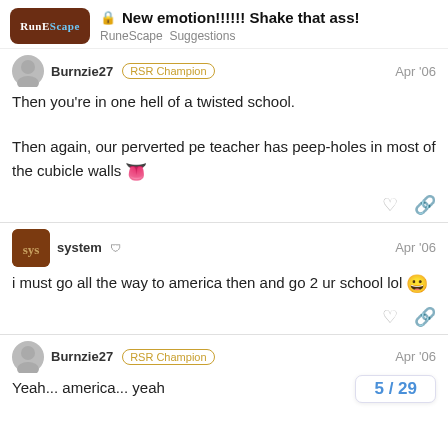New emotion!!!!!! Shake that ass! — RuneScape Suggestions
Burnzie27 RSR Champion Apr '06
Then you're in one hell of a twisted school.

Then again, our perverted pe teacher has peep-holes in most of the cubicle walls 👅
system Apr '06
i must go all the way to america then and go 2 ur school lol 😀
Burnzie27 RSR Champion Apr '06
Yeah... america... yeah